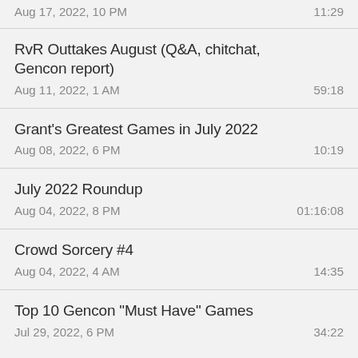Aug 17, 2022, 10 PM | 11:29
RvR Outtakes August (Q&A, chitchat, Gencon report) | Aug 11, 2022, 1 AM | 59:18
Grant's Greatest Games in July 2022 | Aug 08, 2022, 6 PM | 10:19
July 2022 Roundup | Aug 04, 2022, 8 PM | 01:16:08
Crowd Sorcery #4 | Aug 04, 2022, 4 AM | 14:35
Top 10 Gencon "Must Have" Games | Jul 29, 2022, 6 PM | 34:22